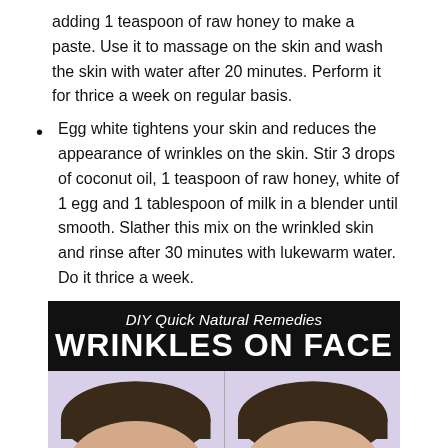adding 1 teaspoon of raw honey to make a paste. Use it to massage on the skin and wash the skin with water after 20 minutes. Perform it for thrice a week on regular basis.
Egg white tightens your skin and reduces the appearance of wrinkles on the skin. Stir 3 drops of coconut oil, 1 teaspoon of raw honey, white of 1 egg and 1 tablespoon of milk in a blender until smooth. Slather this mix on the wrinkled skin and rinse after 30 minutes with lukewarm water. Do it thrice a week.
[Figure (infographic): DIY Quick Natural Remedies - WRINKLES ON FACE infographic showing before and after comparison of a woman's forehead.]